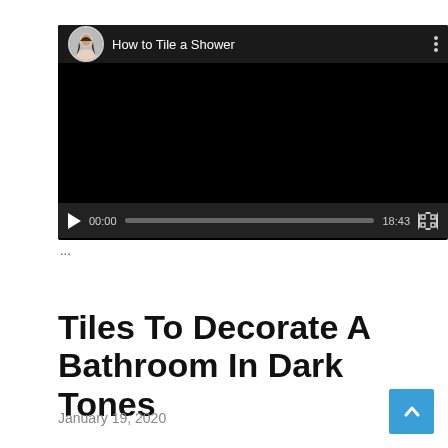[Figure (screenshot): Embedded YouTube-style video player showing 'How to Tile a Shower' with avatar thumbnail, black video area, play button, time 00:00/18:43, progress bar, and fullscreen button.]
...
Tiles To Decorate A Bathroom In Dark Tones
January 19, 2020
R...